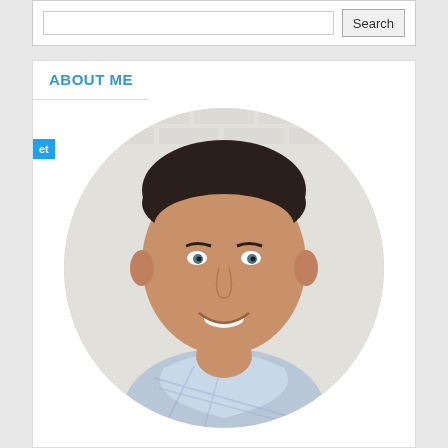ABOUT ME
[Figure (photo): Circular cropped headshot of a middle-aged man with dark hair, smiling, wearing a light blue plaid shirt, photographed against a white brick wall background.]